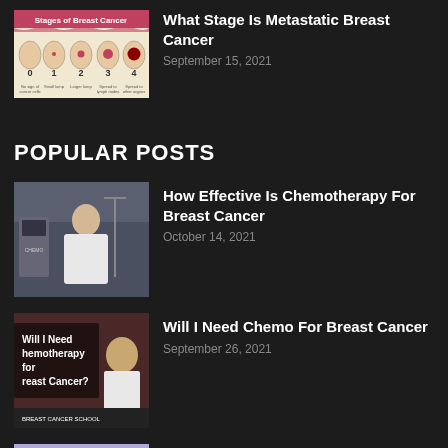[Figure (infographic): Stages of Breast Cancer infographic showing stages 0 through 4 with illustrated cross-sections]
What Stage Is Metastatic Breast Cancer
September 15, 2021
POPULAR POSTS
[Figure (photo): Patient sitting in medical chair during chemotherapy treatment]
How Effective Is Chemotherapy For Breast Cancer
October 14, 2021
[Figure (photo): Will I Need Hemotherapy for Breast Cancer? - Breast Cancer School thumbnail]
Will I Need Chemo For Breast Cancer
September 26, 2021
[Figure (photo): Cortisonorre Ultraschull and Mammography slide thumbnail]
Can Breast Cancer Be Diagnosed With Ultrasound